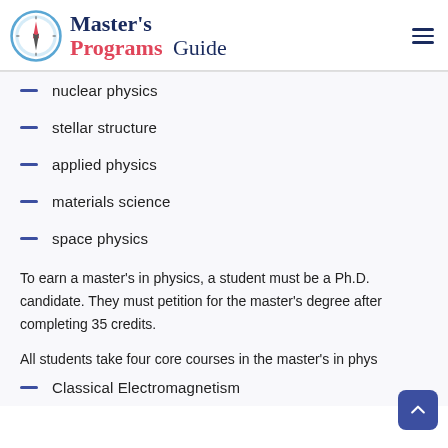Master's Programs Guide
nuclear physics
stellar structure
applied physics
materials science
space physics
To earn a master's in physics, a student must be a Ph.D. candidate. They must petition for the master's degree after completing 35 credits.
All students take four core courses in the master's in phys…
Classical Electromagnetism